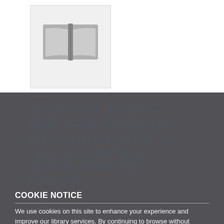[Figure (illustration): Book cover placeholder with open book icon on light gray background]
BOOKS
Blaise Pascal, das Heil im Widerspruch : Studien zu d. Pensées im Aspekt philos.-theol. Anschauungen - Sprache. Gestaltung u. Reflexion
AUTHOR / CREATOR
COOKIE NOTICE
We use cookies on this site to enhance your experience and improve our library services. By continuing to browse without changing your browser settings to block or delete cookies, you agree to the storing of cookies and related technologies on your device. UW–Madison Privacy Notice
GOT IT!